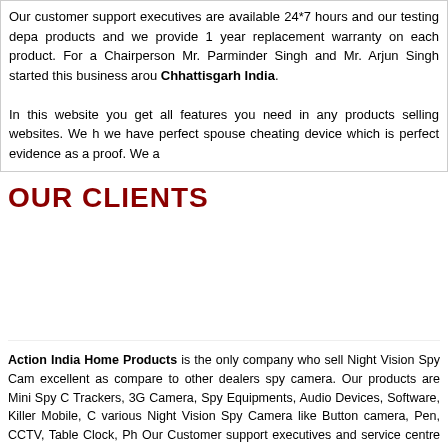Our customer support executives are available 24*7 hours and our testing depa products and we provide 1 year replacement warranty on each product. For a Chairperson Mr. Parminder Singh and Mr. Arjun Singh started this business arou Chhattisgarh India.
In this website you get all features you need in any products selling websites. We h we have perfect spouse cheating device which is perfect evidence as a proof. We a
OUR CLIENTS
Action India Home Products is the only company who sell Night Vision Spy Cam excellent as compare to other dealers spy camera. Our products are Mini Spy C Trackers, 3G Camera, Spy Equipments, Audio Devices, Software, Killer Mobile, C various Night Vision Spy Camera like Button camera, Pen, CCTV, Table Clock, Ph Our Customer support executives and service centre is available 24*7 hours to res
HOME | ABOUT US | INQUIRY | SITEMAP | CONTACT US | LATE
Copyright © 2012. Action